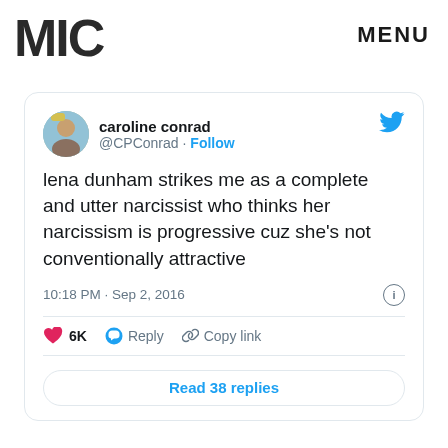MIC   MENU
[Figure (screenshot): Tweet screenshot from @CPConrad (caroline conrad) reading: 'lena dunham strikes me as a complete and utter narcissist who thinks her narcissism is progressive cuz she's not conventionally attractive' posted at 10:18 PM · Sep 2, 2016 with 6K likes, Reply, Copy link, and Read 38 replies button.]